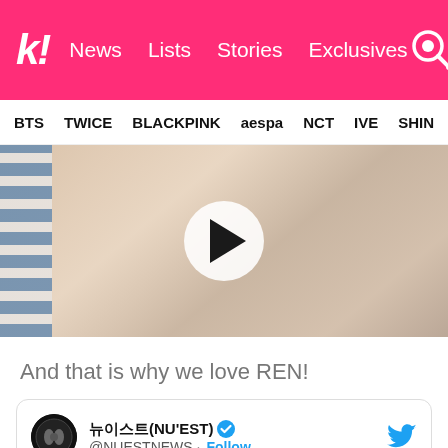k! News  Lists  Stories  Exclusives
BTS  TWICE  BLACKPINK  aespa  NCT  IVE  SHINee
[Figure (photo): Video thumbnail showing a young person smiling, with striped fabric on the left and a large play button overlay in the center. Background is warm-toned.]
And that is why we love REN!
뉴이스트(NU'EST) @NUESTNEWS · Follow [NU'EST] (partial tweet body cut off)